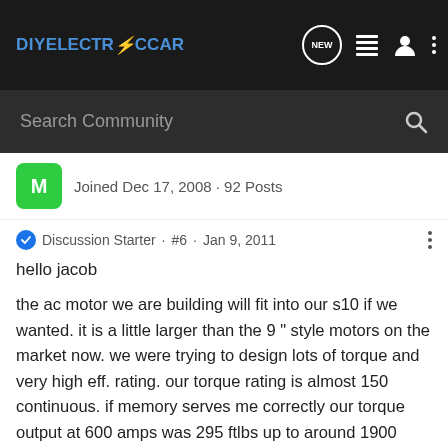DIYELECTRICCAR
Search Community
Joined Dec 17, 2008 · 92 Posts
Discussion Starter · #6 · Jan 9, 2011
hello jacob
the ac motor we are building will fit into our s10 if we wanted. it is a little larger than the 9 " style motors on the market now. we were trying to design lots of torque and very high eff. rating. our torque rating is almost 150 continuous. if memory serves me correctly our torque output at 600 amps was 295 ftlbs up to around 1900 rpm. this motor will spin/run to 5000 rpm but the ratings start dropping off after 2200 rpm. we designed this motor to be used in production autos and trucks for highway use in overdrive. to be able for longer trips. we are calculating about 150 to 240 amps while in overdrive at 65 mph.